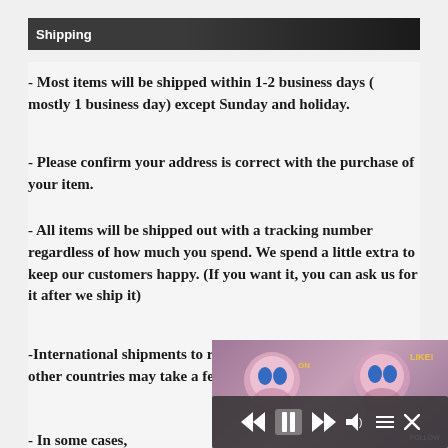Shipping
- Most items will be shipped within 1-2 business days ( mostly 1 business day) except Sunday and holiday.
- Please confirm your address is correct with the purchase of your item.
- All items will be shipped out with a tracking number regardless of how much you spend. We spend a little extra to keep our customers happy. (If you want it, you can ask us for it after we ship it)
-International shipments to relating areas such as Europe or other countries may take a few extra days due to processi...
- In some cases,...
[Figure (screenshot): Anime-style video player overlay with playback controls (rewind, pause, fast-forward, volume, menu, close) partially obscuring the text content]